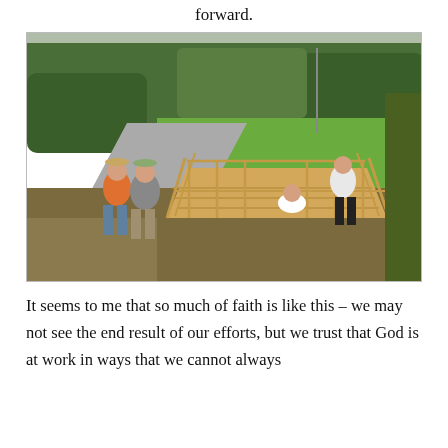forward.
[Figure (photo): Four people standing near a newly constructed wooden bridge/ramp in an outdoor grassy area with trees in the background. Two women stand on the left side, and two more people are on the bridge ramp on the right. The scene appears to be a mission or volunteer work project.]
It seems to me that so much of faith is like this – we may not see the end result of our efforts, but we trust that God is at work in ways that we cannot always